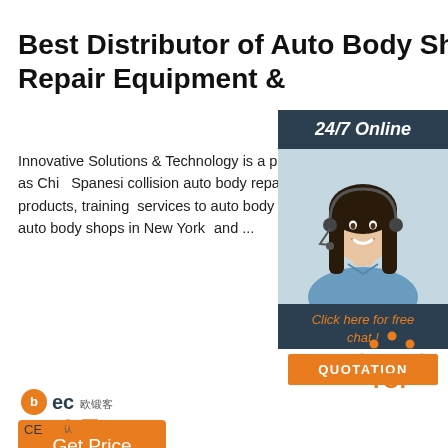Best Distributor of Auto Body Shop Repair Equipment &
Innovative Solutions & Technology is a proud distributor of GYS quality welding systems as well as Chis... Spanesi collision auto body repair tools and equipment. We offer these world-class products, training and services to auto body repair shops across the tri-state area, servicing auto body shops in New York... and ...
[Figure (infographic): 24/7 Online chat widget with woman wearing headset, dark blue background, orange QUOTATION button]
[Figure (illustration): Orange TOP button with decorative dots icon]
[Figure (logo): BEC logo with Chinese characters and CE certification marks]
Get Price